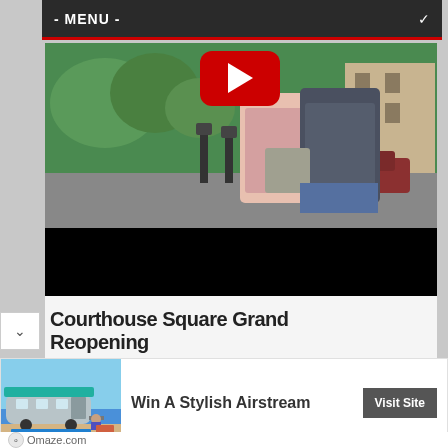- MENU -
[Figure (screenshot): YouTube video thumbnail showing two people standing close together outdoors near parking meters. A YouTube play button (red) is visible at the top center of the video frame. The lower portion of the video is black (letterbox). Scene appears to be from a movie or TV show filmed outdoors near a building.]
Courthouse Square Grand Reopening
[Figure (photo): Advertisement image showing an Airstream trailer parked on a beach with a person sitting outside. Turquoise/teal awning extended. Blue sky and ocean in background.]
Win A Stylish Airstream
Visit Site
Omaze.com